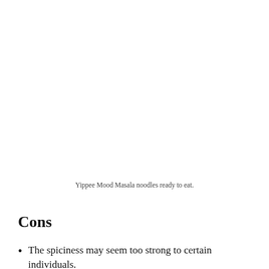Yippee Mood Masala noodles ready to eat.
Cons
The spiciness may seem too strong to certain individuals.